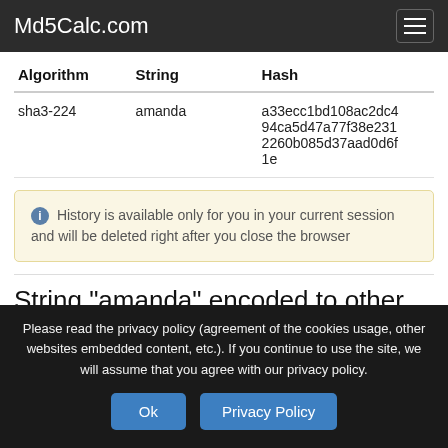Md5Calc.com
| Algorithm | String | Hash |
| --- | --- | --- |
| sha3-224 | amanda | a33ecc1bd108ac2dc494ca5d47a77f38e2312260b085d37aad0d6f1e |
History is available only for you in your current session and will be deleted right after you close the browser
String "amanda" encoded to other algorithms
Please read the privacy policy (agreement of the cookies usage, other websites embedded content, etc.). If you continue to use the site, we will assume that you agree with our privacy policy.